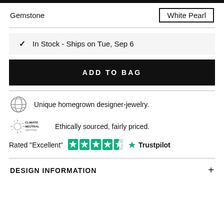Gemstone — White Pearl
✓ In Stock - Ships on Tue, Sep 6
ADD TO BAG
Unique homegrown designer-jewelry.
Ethically sourced, fairly priced.
Rated "Excellent" ★★★★½ Trustpilot
DESIGN INFORMATION